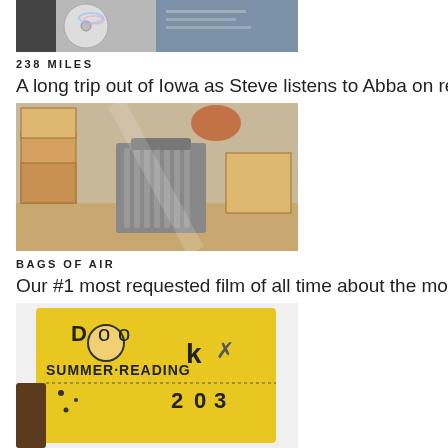[Figure (photo): Close-up of a CD and a digital device/tablet, partially visible at top of page]
238 MILES
A long trip out of Iowa as Steve listens to Abba on repeat for 5
[Figure (photo): Person unpacking a radiator heater from cardboard boxes in a room]
BAGS OF AIR
Our #1 most requested film of all time about the most interest
[Figure (photo): Illustrated yellow bag or book with text SUMMER READING and the number 2003, with cartoon drawings]